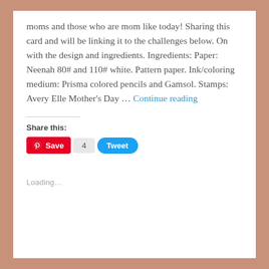moms and those who are mom like today! Sharing this card and will be linking it to the challenges below. On with the design and ingredients. Ingredients: Paper: Neenah 80# and 110# white. Pattern paper. Ink/coloring medium: Prisma colored pencils and Gamsol. Stamps: Avery Elle Mother's Day … Continue reading
Share this:
[Figure (other): Social sharing buttons: Pinterest Save button (red), count badge showing 4, Tweet button (blue)]
Loading...